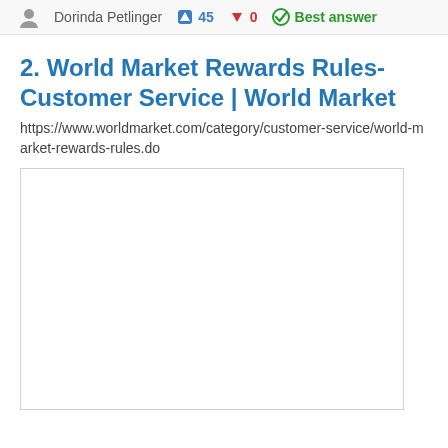Dorinda Petlinger  45  0  Best answer
2. World Market Rewards Rules- Customer Service | World Market
https://www.worldmarket.com/category/customer-service/world-market-rewards-rules.do
[Figure (screenshot): Empty white preview box with a thin border, representing a webpage screenshot placeholder]